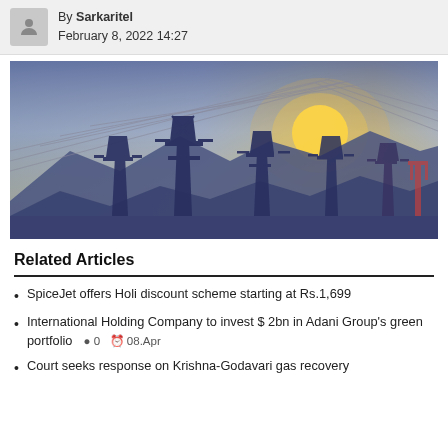By Sarkaritel February 8, 2022 14:27
[Figure (photo): Power transmission towers/electricity pylons silhouetted against a sunset sky with mountains in background]
Related Articles
SpiceJet offers Holi discount scheme starting at Rs.1,699
International Holding Company to invest $ 2bn in Adani Group's green portfolio  0  08.Apr
Court seeks response on Krishna-Godavari gas recovery